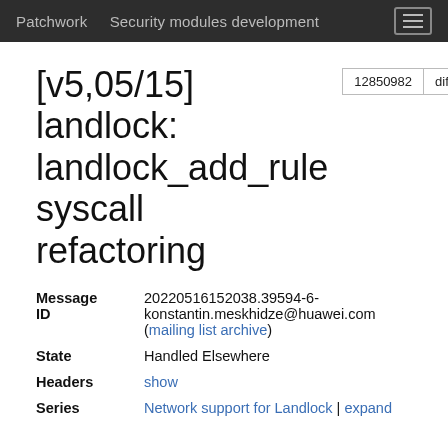Patchwork   Security modules development
[v5,05/15] landlock: landlock_add_rule syscall refactoring
| Field | Value |
| --- | --- |
| Message ID | 20220516152038.39594-6-konstantin.meskhidze@huawei.com (mailing list archive) |
| State | Handled Elsewhere |
| Headers | show |
| Series | Network support for Landlock | expand |
Commit Message